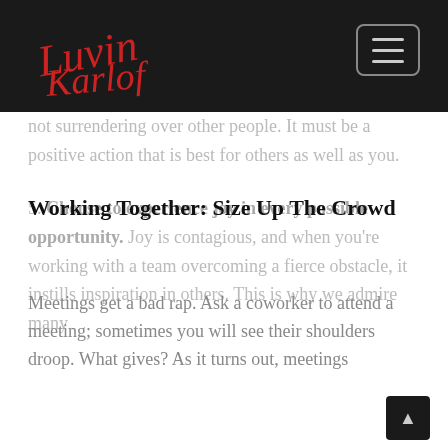[Logo] [Navigation menu button]
not surrendering over other people. It must be a positive action that is best for others as well as you.
Working Together: Size Up The Crowd
5. Choose to experience joy in every possible opportunity. Joy is contagious, and when you're working with a team overcoming a fierce obstacle, it instills inspiration in others. This is why we admire many
Meetings get a bad rap. Ask a coworker to attend a meeting; sometimes you will see their shoulders droop. What gives? As it turns out, meetings